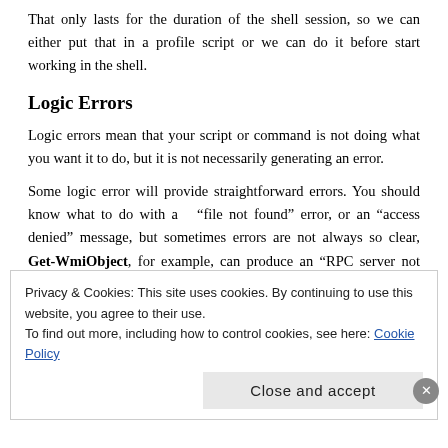That only lasts for the duration of the shell session, so we can either put that in a profile script or we can do it before start working in the shell.
Logic Errors
Logic errors mean that your script or command is not doing what you want it to do, but it is not necessarily generating an error.
Some logic error will provide straightforward errors. You should know what to do with a “file not found” error, or an “access denied” message, but sometimes errors are not always so clear, Get-WmiObject, for example, can produce an “RPC server not found” error if it is not able to locate a remote computer, etc.,
Privacy & Cookies: This site uses cookies. By continuing to use this website, you agree to their use.
To find out more, including how to control cookies, see here: Cookie Policy
Close and accept